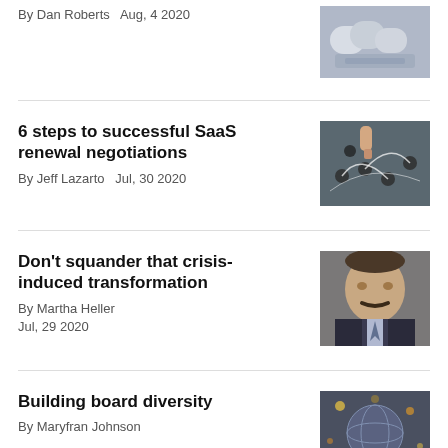By Dan Roberts   Aug, 4 2020
[Figure (photo): People at a meeting table, overhead view]
6 steps to successful SaaS renewal negotiations
By Jeff Lazarto   Jul, 30 2020
[Figure (photo): Chess pieces on a board with strategy lines drawn]
Don't squander that crisis-induced transformation
By Martha Heller
Jul, 29 2020
[Figure (photo): Portrait of a man with a mustache in a suit]
Building board diversity
By Maryfran Johnson
[Figure (photo): Globe with lights]